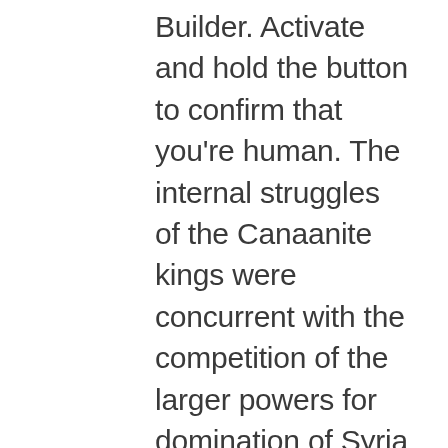Builder. Activate and hold the button to confirm that you're human. The internal struggles of the Canaanite kings were concurrent with the competition of the larger powers for domination of Syria and Palestine. However, it has been found that schools do not always know whatthe term parental involvement really means Vandergrift and Greene, 1992. Among the professors of the school are several of the leading mathematicians of the country, V. Listing information is provided for